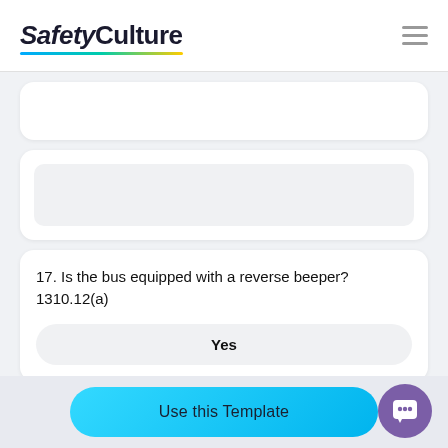SafetyCulture
17. Is the bus equipped with a reverse beeper? 1310.12(a)
Yes
Use this Template